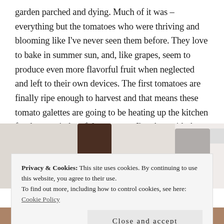garden parched and dying. Much of it was – everything but the tomatoes who were thriving and blooming like I've never seen them before. They love to bake in summer sun, and, like grapes, seem to produce even more flavorful fruit when neglected and left to their own devices. The first tomatoes are finally ripe enough to harvest and that means these tomato galettes are going to be heating up the kitchen for the remainder of the summer. I'm okay with that.
[Figure (photo): Partial photo showing dark brown and grey blurred objects, likely kitchen or food-related items]
Privacy & Cookies: This site uses cookies. By continuing to use this website, you agree to their use.
To find out more, including how to control cookies, see here: Cookie Policy
Close and accept
[Figure (photo): Bottom partial photo, warm brown tones]